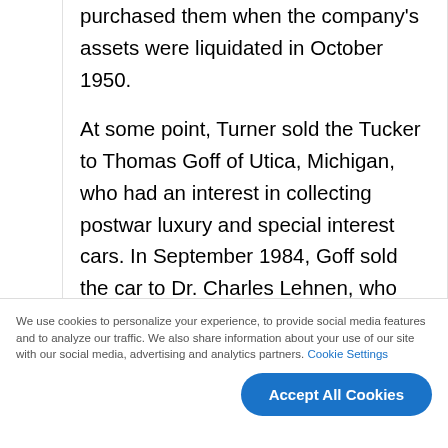purchased them when the company's assets were liquidated in October 1950.

At some point, Turner sold the Tucker to Thomas Goff of Utica, Michigan, who had an interest in collecting postwar luxury and special interest cars. In September 1984, Goff sold the car to Dr. Charles Lehnen, who had located it through Tucker collector Allan Reinert of Burlington, Wisconsin. Lehnen hired Car
We use cookies to personalize your experience, to provide social media features and to analyze our traffic. We also share information about your use of our site with our social media, advertising and analytics partners. Cookie Settings
Accept All Cookies